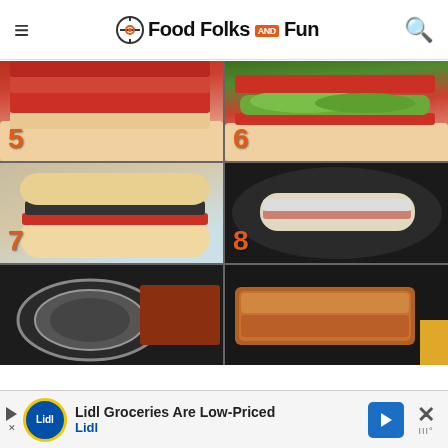Food Folks and Fun
[Figure (photo): Step 5: Layered sandwich ingredients with red tomatoes and sauce on bread]
[Figure (photo): Step 6: Avocado slices added on top of tomatoes and sandwich ingredients]
[Figure (photo): Step 7: Top slice of bread placed on assembled sandwich]
[Figure (photo): Step 8: Sandwich placed in dark pan for cooking]
[Figure (photo): Step 9: Round pan/weight being placed on top of sandwich in skillet]
[Figure (photo): Step 10: Toasted golden-brown grilled sandwich in pan]
Lidl Groceries Are Low-Priced
Lidl